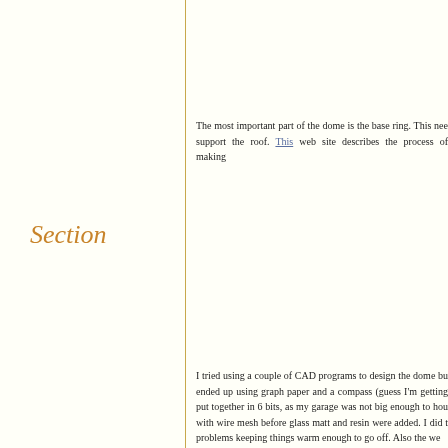Section
The most important part of the dome is the base ring. This nee support the roof. This web site describes the process of making
I tried using a couple of CAD programs to design the dome bu ended up using graph paper and a compass (guess I'm getting put together in 6 bits, as my garage was not big enough to hou with wire mesh before glass matt and resin were added. I did t problems keeping things warm enough to go off. Also the we